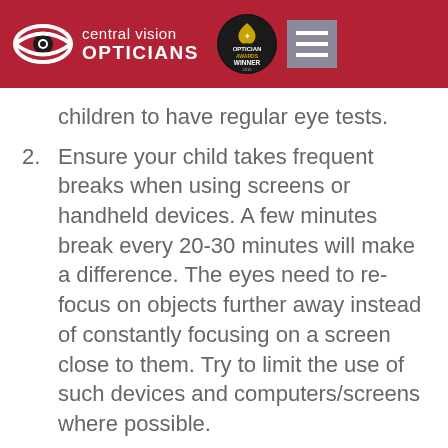central vision OPTICIANS
children to have regular eye tests.
2. Ensure your child takes frequent breaks when using screens or handheld devices. A few minutes break every 20-30 minutes will make a difference. The eyes need to re-focus on objects further away instead of constantly focusing on a screen close to them. Try to limit the use of such devices and computers/screens where possible.